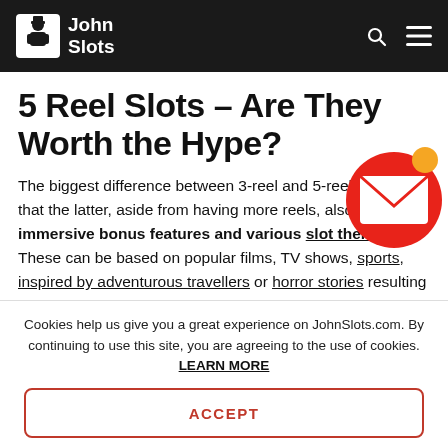John Slots
5 Reel Slots – Are They Worth the Hype?
The biggest difference between 3-reel and 5-reel slots is that the latter, aside from having more reels, also come with immersive bonus features and various slot themes. These can be based on popular films, TV shows, sports, inspired by adventurous travellers or horror stories resulting
[Figure (illustration): Red circular notification icon with envelope/mail symbol and orange dot badge]
Cookies help us give you a great experience on JohnSlots.com. By continuing to use this site, you are agreeing to the use of cookies. LEARN MORE
ACCEPT